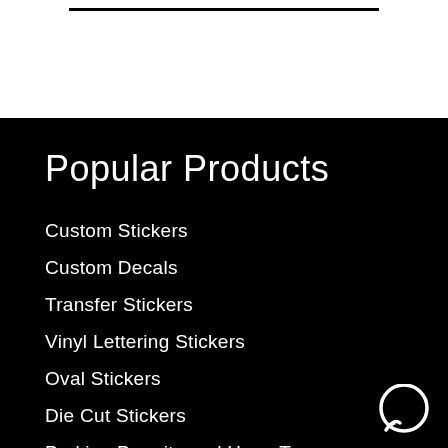[Figure (other): Top white section with a black horizontal bar/line near the top]
Popular Products
Custom Stickers
Custom Decals
Transfer Stickers
Vinyl Lettering Stickers
Oval Stickers
Die Cut Stickers
Parking Permits and Hang Tags
In Loving Memory Stickers